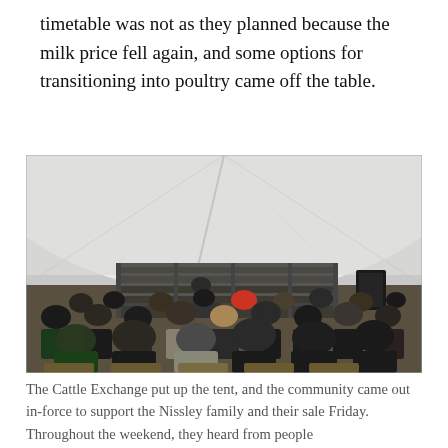timetable was not as they planned because the milk price fell again, and some options for transitioning into poultry came off the table.
[Figure (photo): A large outdoor tent set up for a cattle sale, viewed from behind the crowd. Many people seated in chairs facing a cattle pen/auction ring at the front with metal railings. A speaker addresses the audience. The tent has a white canvas roof.]
The Cattle Exchange put up the tent, and the community came out in-force to support the Nissley family and their sale Friday. Throughout the weekend, they heard from people